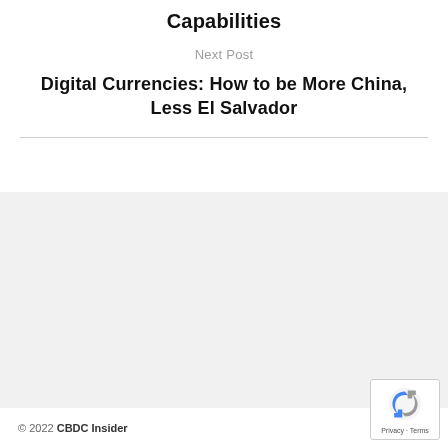Capabilities
Next Post
Digital Currencies: How to be More China, Less El Salvador
© 2022 CBDC Insider